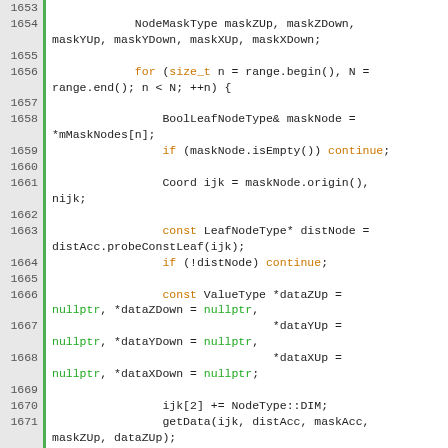[Figure (screenshot): Source code listing lines 1653-1676, C++ code showing node mask operations with syntax highlighting. Keywords like 'for', 'const', 'if', 'continue' in orange; 'nullptr' in green; other code in dark/black.]